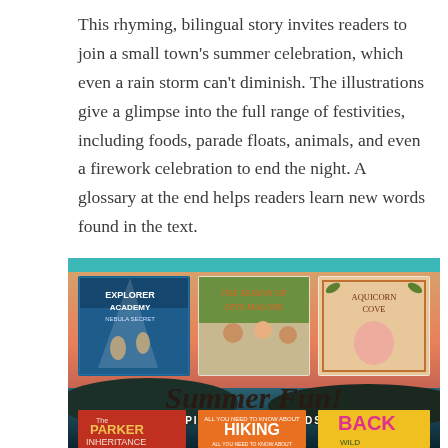This rhyming, bilingual story invites readers to join a small town's summer celebration, which even a rain storm can't diminish. The illustrations give a glimpse into the full range of festivities, including foods, parade floats, animals, and even a firework celebration to end the night. A glossary at the end helps readers learn new words found in the text.
[Figure (illustration): A promotional banner for 'Summer Fun! Picks for Big Kids' showing book covers including Explorer Academy: Nebula Secret, The Season of Styx Malone, Aquicorn Cove, The Parker Inheritance, a Hiking book, and Back (Wild) book. Teal header bar at top, sunset ocean background in middle section with cursive 'Summer Fun!' text and 'PICKS FOR BIG KIDS' subtitle, bottom row shows partial book covers.]